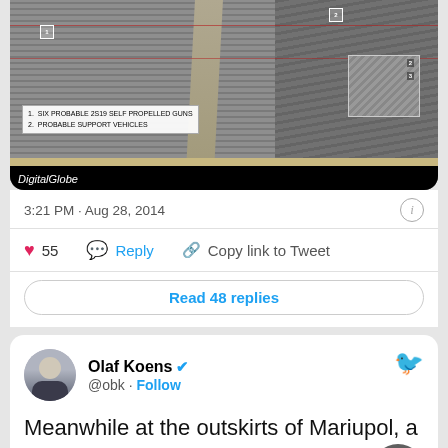[Figure (photo): Satellite aerial image showing military vehicles (self-propelled guns and support vehicles) with DigitalGlobe attribution and annotation labels]
3:21 PM · Aug 28, 2014
55  Reply  Copy link to Tweet
Read 48 replies
Olaf Koens @obk · Follow
Meanwhile at the outskirts of Mariupol, a big rally. 'Away with Putin, this town is Ukrainian'